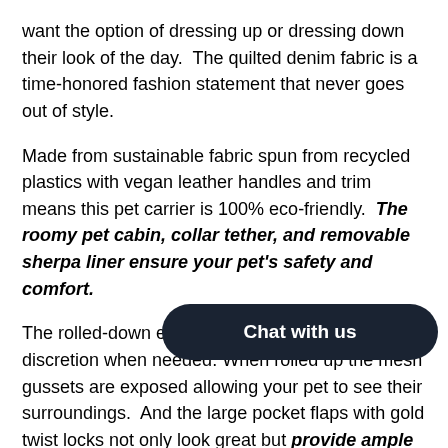want the option of dressing up or dressing down their look of the day. The quilted denim fabric is a time-honored fashion statement that never goes out of style.
Made from sustainable fabric spun from recycled plastics with vegan leather handles and trim means this pet carrier is 100% eco-friendly. The roomy pet cabin, collar tether, and removable sherpa liner ensure your pet's safety and comfort.
The rolled-down end flaps provide privacy and discretion when needed. When rolled up the mesh gussets are exposed allowing your pet to see their surroundings. And the large pocket flaps with gold twist locks not only look great but provide ample storage for both the pet and the pet parent.
Like all A Pet with Paws pet carriers, the Edgar Pet Carrier is airline approved and fully compatible with our Pet Trek. The Pet Trek is a four-spinner wheel folding tr[...] to navigate the pet carrier through crowded a[...] effortlessly.